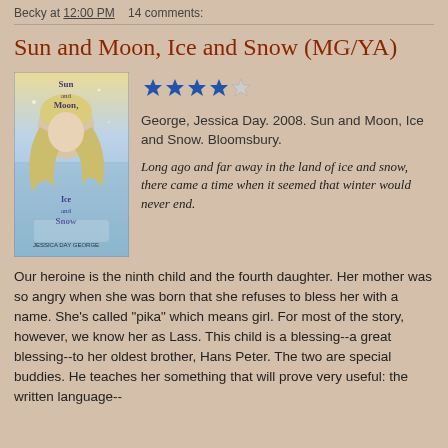Becky at 12:00 PM   14 comments:
Sun and Moon, Ice and Snow (MG/YA)
[Figure (illustration): Book cover for Sun and Moon, Ice and Snow by Jessica Day George, showing a blonde woman in a wintry scene with icy blue tones]
[Figure (other): Star rating: 4 out of 5 stars (4 filled blue stars and 1 empty/outline star)]
George, Jessica Day. 2008. Sun and Moon, Ice and Snow. Bloomsbury.
Long ago and far away in the land of ice and snow, there came a time when it seemed that winter would never end.
Our heroine is the ninth child and the fourth daughter. Her mother was so angry when she was born that she refuses to bless her with a name. She's called "pika" which means girl. For most of the story, however, we know her as Lass. This child is a blessing--a great blessing--to her oldest brother, Hans Peter. The two are special buddies. He teaches her something that will prove very useful: the written language--